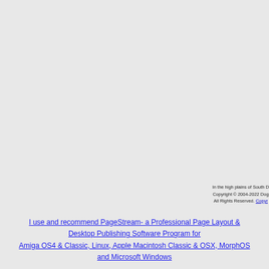In the high plains of South D... Copyright © 2004-2022 Dog... All Rights Reserved. Copyr...
I use and recommend PageStream- a Professional Page Layout & Desktop Publishing Software Program for Amiga OS4 & Classic, Linux, Apple Macintosh Classic & OSX, MorphOS and Microsoft Windows